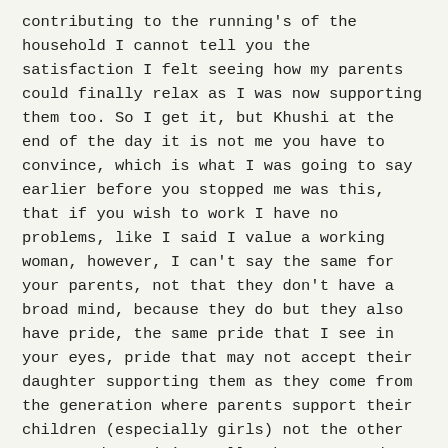contributing to the running's of the household I cannot tell you the satisfaction I felt seeing how my parents could finally relax as I was now supporting them too. So I get it, but Khushi at the end of the day it is not me you have to convince, which is what I was going to say earlier before you stopped me was this, that if you wish to work I have no problems, like I said I value a working woman, however, I can't say the same for your parents, not that they don't have a broad mind, because they do but they also have pride, the same pride that I see in your eyes, pride that may not accept their daughter supporting them as they come from the generation where parents support their children (especially girls) not the other way round. So it's really them you need to ask not me. If they say yes than I have no issues.' He concluded.
A smile spread across Khushi's face, 'You have no problem, brilliant! And yeah I know I need Bauji and Amma's approval I will work on that too, but you agree, that's great!' she turned to face Payal, eyes twinkling, she